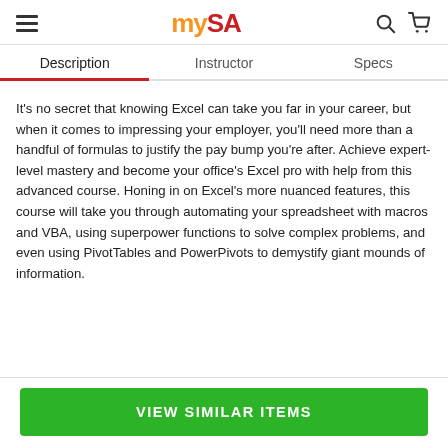mySA
Description | Instructor | Specs
It's no secret that knowing Excel can take you far in your career, but when it comes to impressing your employer, you'll need more than a handful of formulas to justify the pay bump you're after. Achieve expert-level mastery and become your office's Excel pro with help from this advanced course. Honing in on Excel's more nuanced features, this course will take you through automating your spreadsheet with macros and VBA, using superpower functions to solve complex problems, and even using PivotTables and PowerPivots to demystify giant mounds of information.
VIEW SIMILAR ITEMS